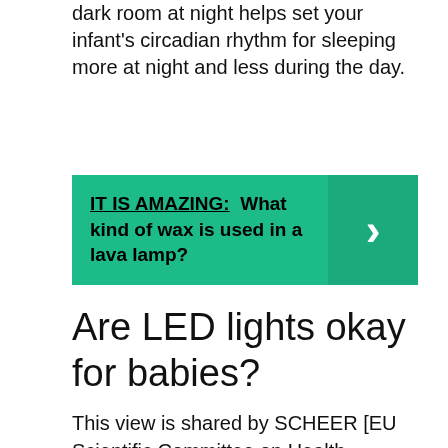dark room at night helps set your infant's circadian rhythm for sleeping more at night and less during the day.
IT IS AMAZING: What kind of wax is used in a lava lamp?
Are LED lights okay for babies?
This view is shared by SCHEER [EU Scientific Committee on Health, Environment and Emerging Risks] experts who, in a report issued in July 2018[2], conclude that there is no evidence of harmful effects of LEDs in normal use, while admitting however that further research is needed to